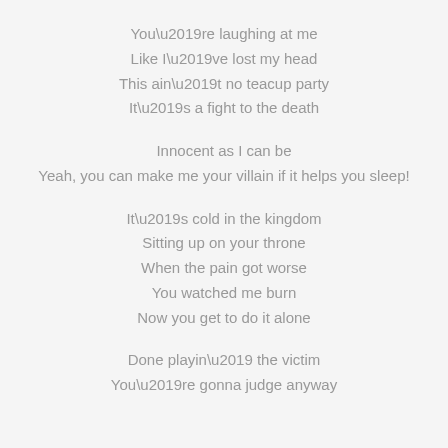You’re laughing at me
Like I’ve lost my head
This ain’t no teacup party
It’s a fight to the death
Innocent as I can be
Yeah, you can make me your villain if it helps you sleep!
It’s cold in the kingdom
Sitting up on your throne
When the pain got worse
You watched me burn
Now you get to do it alone
Done playin’ the victim
You’re gonna judge anyway